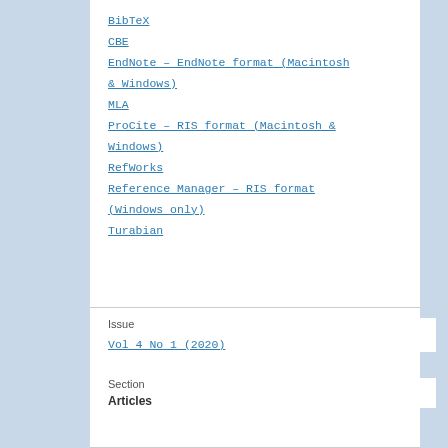BibTeX
CBE
EndNote – EndNote format (Macintosh & Windows)
MLA
ProCite – RIS format (Macintosh & Windows)
RefWorks
Reference Manager – RIS format (Windows only)
Turabian
Issue
Vol 4 No 1 (2020)
Section
Articles